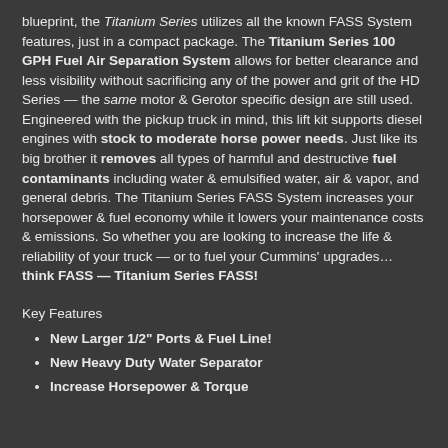blueprint, the Titanium Series utilizes all the known FASS System features, just in a compact package. The Titanium Series 100 GPH Fuel Air Separation System allows for better clearance and less visibility without sacrificing any of the power and grit of the HD Series — the same motor & Gerotor specific design are still used. Engineered with the pickup truck in mind, this lift kit supports diesel engines with stock to moderate horse power needs. Just like its big brother it removes all types of harmful and destructive fuel contaminants including water & emulsified water, air & vapor, and general debris. The Titanium Series FASS System increases your horsepower & fuel economy while it lowers your maintenance costs & emissions. So whether you are looking to increase the life & reliability of your truck — or to fuel your Cummins' upgrades… think FASS — Titanium Series FASS!
Key Features
New Larger 1/2" Ports & Fuel Line!
New Heavy Duty Water Separator
Increase Horsepower & Torque